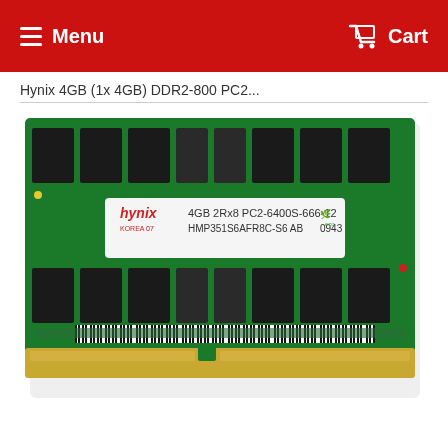Menu  Cart
Hynix 4GB (1x 4GB) DDR2-800 PC2...
[Figure (photo): Hynix 4GB 2Rx8 PC2-6400S-666-12 DDR2 SODIMM RAM module, model HMP351S6AFR8C-S6 AB, dated 0943, Korea 07, with eco label, green PCB with gold contacts]